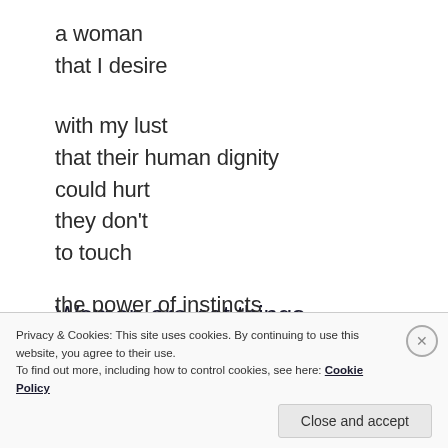a woman
that I desire
with my lust
that their human dignity
could hurt
they don't
to touch
Women are not things
the power of instincts
Privacy & Cookies: This site uses cookies. By continuing to use this website, you agree to their use.
To find out more, including how to control cookies, see here: Cookie Policy
Close and accept